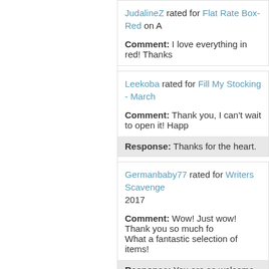JudalineZ rated for Flat Rate Box-Red on ...
Comment: I love everything in red! Thanks
Leekoba rated for Fill My Stocking - March...
Comment: Thank you, I can't wait to open it! Happ...
Response: Thanks for the heart.
Germanbaby77 rated for Writers Scavenge... 2017
Comment: Wow! Just wow! Thank you so much fo... What a fantastic selection of items!
Response: You are so welcome. I am glad you lov...
Sissi rated for Planner/Agenda Addict #3 ...